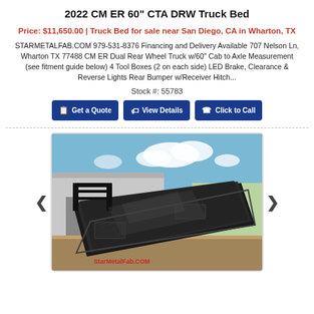2022 CM ER 60" CTA DRW Truck Bed
Price: $11,650.00 | Truck Bed for sale near San Diego, CA in Wharton, TX
STARMETALFAB.COM 979-531-8376 Financing and Delivery Available 707 Nelson Ln, Wharton TX 77488 CM ER Dual Rear Wheel Truck w/60" Cab to Axle Measurement (see fitment guide below) 4 Tool Boxes (2 on each side) LED Brake, Clearance & Reverse Lights Rear Bumper w/Receiver Hitch...
Stock #: 55783
Get a Quote | View Details | Click to Call
[Figure (photo): Photo of a black CM ER DRW truck bed displayed outdoors near a metal building on a sunny day with clouds. The truck bed is mounted, showing diamond-plate surfaces, tool boxes, and a headache rack. Watermark: StarMetalFab.COM]